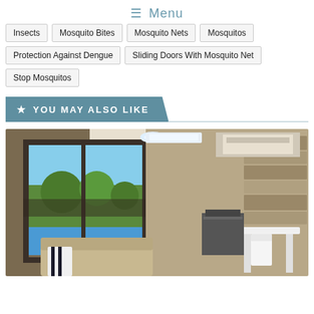≡ Menu
Insects
Mosquito Bites
Mosquito Nets
Mosquitos
Protection Against Dengue
Sliding Doors With Mosquito Net
Stop Mosquitos
★ YOU MAY ALSO LIKE
[Figure (photo): Interior room with large sliding glass doors overlooking a pool and garden, modern outdoor living space with stone wall, furniture, and ceiling air conditioning unit]